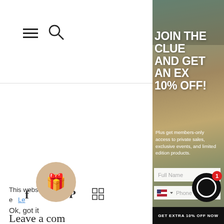[Figure (screenshot): Navigation bar with hamburger menu and search icon on white background]
[Figure (screenshot): Social media sharing icons: Facebook, Twitter, Pinterest, and grid/app icon]
[Figure (screenshot): Older Post button with dark background and tan border]
Leave a com
[Figure (infographic): Promotional popup overlay with photo of woman in bikini and hat. Text reads: JOIN THE CLUE AND GET AN EX 10% OFF! Plus get members-only access to private sales, exclusive events, and limited edition products. Form fields for Full Name and Phone. Button: GET EXTRA 10% OFF NOW]
[Figure (screenshot): Gift icon button circle (tan/beige) with gift box emoji]
[Figure (screenshot): Chat button circle (black) with notification badge showing 1]
This website us e ce. Le
Ok, got it